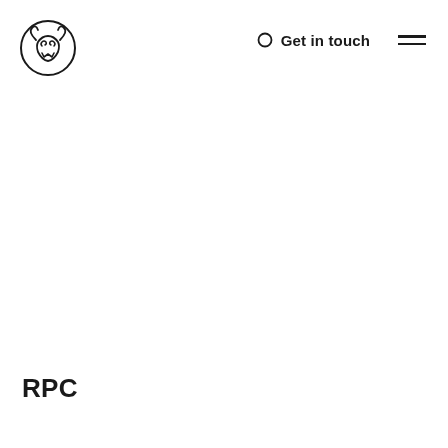[Figure (logo): Circular logo with stylized animal face (goat/ram) with curled horns and the letter W integrated, black outline on white background]
○  Get in touch  ≡
RPC